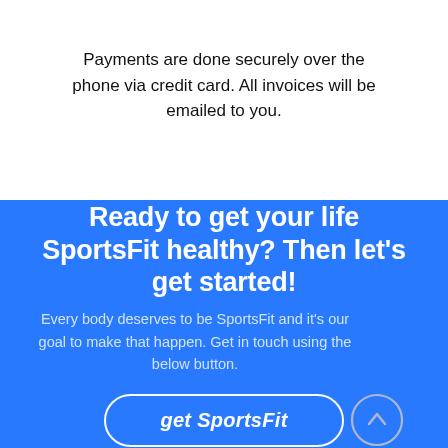Payments are done securely over the phone via credit card. All invoices will be emailed to you.
Ready to get your life SportsFit healthy? Then let's get started!
Every body deserves to be SportsFit and it's our goal to make that happen. Get in touch using the below button.
[Figure (other): Call-to-action button labeled 'get SportsFit' with rounded border, and a circular up-arrow scroll button to the right]